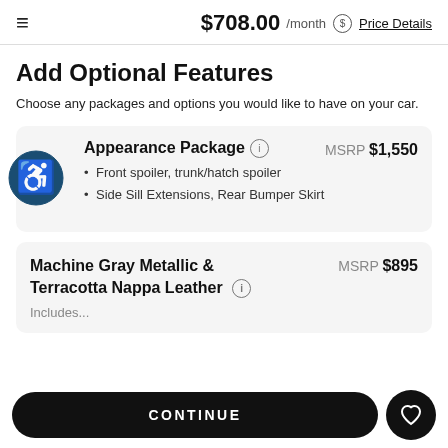$708.00 /month Price Details
Add Optional Features
Choose any packages and options you would like to have on your car.
Appearance Package — MSRP $1,550
Front spoiler, trunk/hatch spoiler
Side Sill Extensions, Rear Bumper Skirt
Machine Gray Metallic & Terracotta Nappa Leather — MSRP $895
Includes...